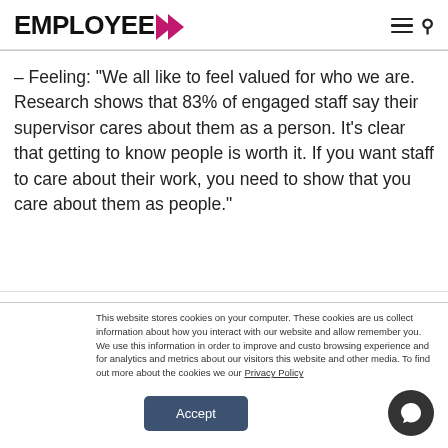EMPLOYEE >
– Feeling: “We all like to feel valued for who we are. Research shows that 83% of engaged staff say their supervisor cares about them as a person. It’s clear that getting to know people is worth it. If you want staff to care about their work, you need to show that you care about them as people.”
This website stores cookies on your computer. These cookies are us collect information about how you interact with our website and allow remember you. We use this information in order to improve and custo browsing experience and for analytics and metrics about our visitors this website and other media. To find out more about the cookies we our Privacy Policy